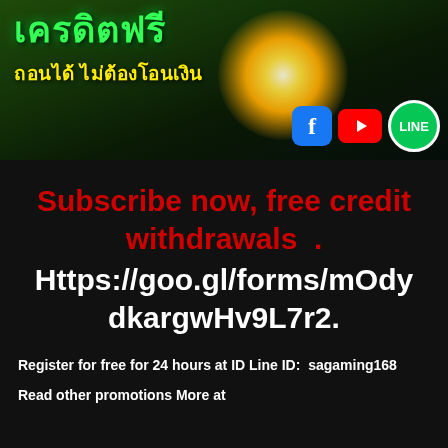[Figure (illustration): Thai online casino promotional banner with green/dark background, glowing golden light burst, Thai text in green and yellow, and social media icons (Facebook, YouTube, LINE)]
Subscribe now, free credit withdrawals .
Https://goo.gl/forms/mOdydkargwHv9L7r2.
Register for free for 24 hours at ID Line ID:  sagaming168
Read other promotions More at